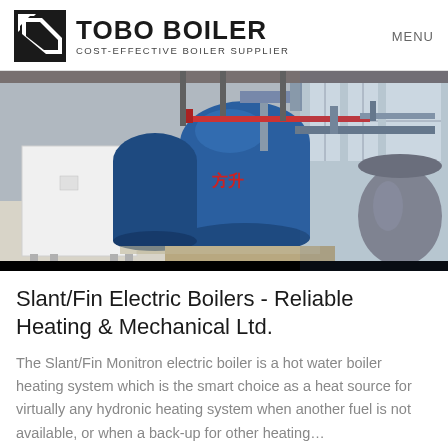TOBO BOILER COST-EFFECTIVE BOILER SUPPLIER | MENU
[Figure (photo): Industrial boiler room with large blue cylindrical boilers on a factory floor, various pipes and equipment visible.]
Slant/Fin Electric Boilers - Reliable Heating & Mechanical Ltd.
The Slant/Fin Monitron electric boiler is a hot water boiler heating system which is the smart choice as a heat source for virtually any hydronic heating system when another fuel is not available, or when a back-up for other heating…